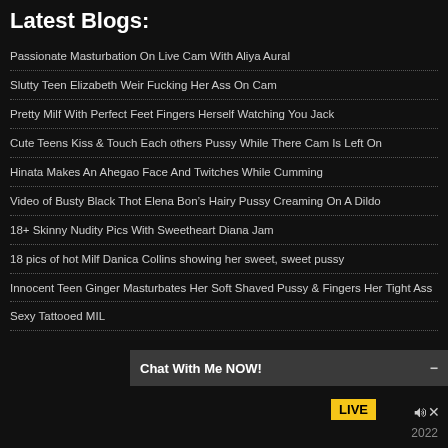Latest Blogs:
Passionate Masturbation On Live Cam With Aliya Aural
Slutty Teen Elizabeth Weir Fucking Her Ass On Cam
Pretty Milf With Perfect Feet Fingers Herself Watching You Jack
Cute Teens Kiss & Touch Each others Pussy While There Cam Is Left On
Hinata Makes An Ahegao Face And Twitches While Cumming
Video of Busty Black Thot Elena Bon’s Hairy Pussy Creaming On A Dildo
18+ Skinny Nudity Pics With Sweetheart Diana Jam
18 pics of hot Milf Danica Collins showing her sweet, sweet pussy
Innocent Teen Ginger Masturbates Her Soft Shaved Pussy & Fingers Her Tight Ass
Sexy Tattooed MIL
Chat With Me NOW!
2022